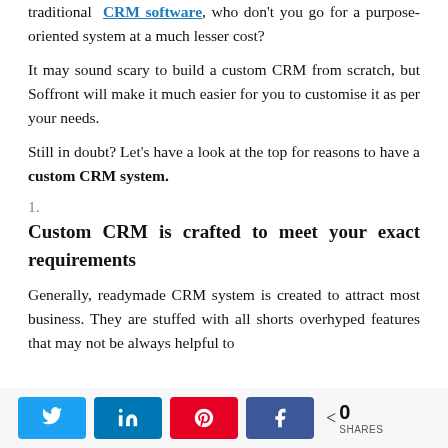traditional CRM software, who don't you go for a purpose-oriented system at a much lesser cost?
It may sound scary to build a custom CRM from scratch, but Soffront will make it much easier for you to customise it as per your needs.
Still in doubt? Let's have a look at the top for reasons to have a custom CRM system.
1.
Custom CRM is crafted to meet your exact requirements
Generally, readymade CRM system is created to attract most business. They are stuffed with all shorts overhyped features that may not be always helpful to
[Figure (infographic): Social share bar with Twitter, LinkedIn, Pinterest, and Facebook buttons, and a share count showing 0 SHARES]